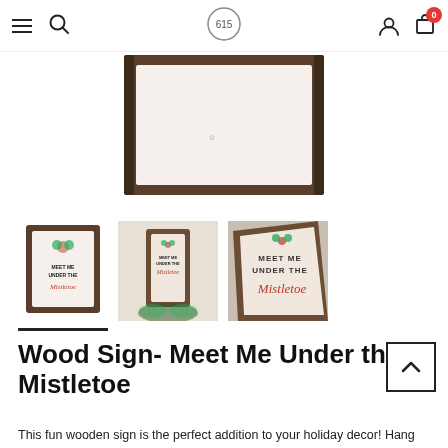Navigation bar with hamburger menu, search icon, 615 logo, user icon, and cart (0)
[Figure (photo): Partial view of a framed wooden sign product image, showing the dark wood frame and white painted wood background]
[Figure (photo): Three product thumbnail images of a wooden 'Meet Me Under the Mistletoe' sign: one small framed view, one lifestyle shot with greenery, one close-up of the sign text]
Wood Sign- Meet Me Under the Mistletoe
This fun wooden sign is the perfect addition to your holiday decor! Hang out